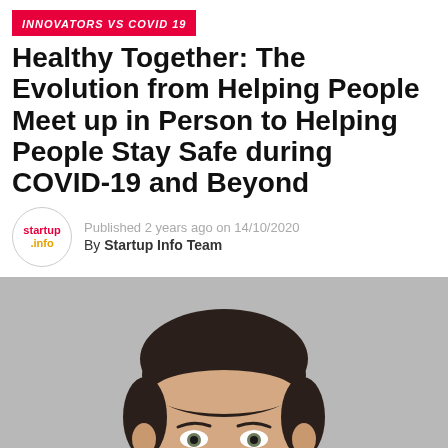INNOVATORS VS COVID 19
Healthy Together: The Evolution from Helping People Meet up in Person to Helping People Stay Safe during COVID-19 and Beyond
Published 2 years ago on 14/10/2020
By Startup Info Team
[Figure (photo): Headshot of a young man with dark hair against a grey background, cropped at approximately chin level at the bottom of the frame.]